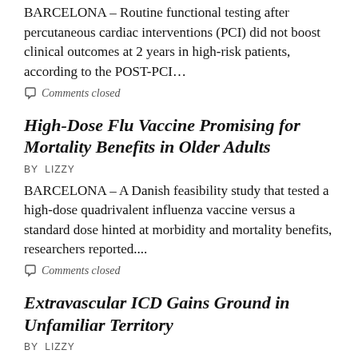BARCELONA – Routine functional testing after percutaneous cardiac interventions (PCI) did not boost clinical outcomes at 2 years in high-risk patients, according to the POST-PCI…
Comments closed
High-Dose Flu Vaccine Promising for Mortality Benefits in Older Adults
BY LIZZY
BARCELONA – A Danish feasibility study that tested a high-dose quadrivalent influenza vaccine versus a standard dose hinted at morbidity and mortality benefits, researchers reported....
Comments closed
Extravascular ICD Gains Ground in Unfamiliar Territory
BY LIZZY
BARCELONA – The early global experience with an